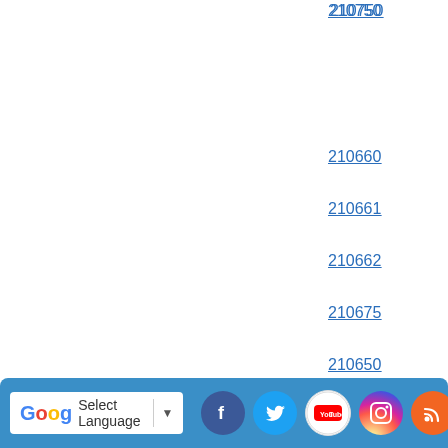| ID | Date |
| --- | --- |
| 210750 | 3/23/2021 |
| 210660 | 3/18/2021 |
| 210661 | 3/18/2021 |
| 210662 | 3/18/2021 |
| 210675 | 3/18/2021 |
| 210650 | 3/17/2021 |
Select Language | ▼  [Facebook] [Twitter] [YouTube] [Instagram] [RSS]